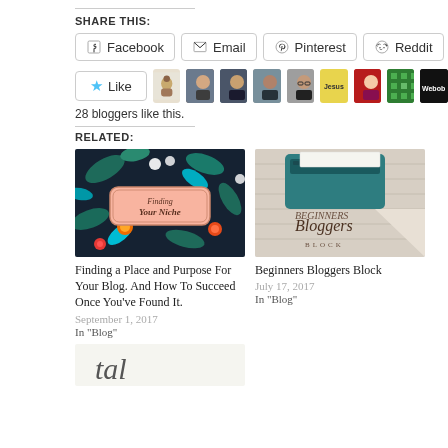SHARE THIS:
Facebook  Email  Pinterest  Reddit
[Figure (other): Like button with star icon and 9 blogger avatar thumbnails]
28 bloggers like this.
RELATED:
[Figure (photo): Floral dark background with pink label reading Finding Your Niche]
Finding a Place and Purpose For Your Blog. And How To Succeed Once You've Found It.
September 1, 2017
In "Blog"
[Figure (photo): Typewriter on wood background with Beginners Bloggers Block text]
Beginners Bloggers Block
July 17, 2017
In "Blog"
[Figure (photo): Partial view of a third related article image, script text partially visible]